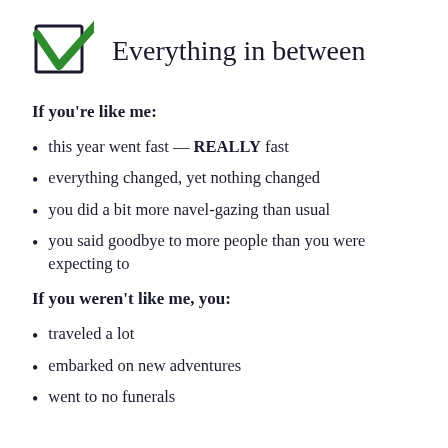Everything in between
If you're like me:
this year went fast — REALLY fast
everything changed, yet nothing changed
you did a bit more navel-gazing than usual
you said goodbye to more people than you were expecting to
If you weren't like me, you:
traveled a lot
embarked on new adventures
went to no funerals